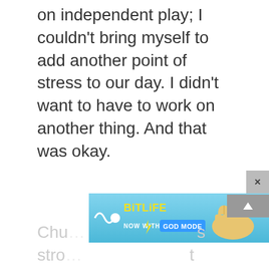on independent play; I couldn't bring myself to add another point of stress to our day. I didn't want to have to work on another thing. And that was okay.
[Figure (screenshot): BitLife advertisement banner with blue background showing 'NOW WITH GOD MODE' text and hand pointing gesture illustration]
Chu... s
stro... t